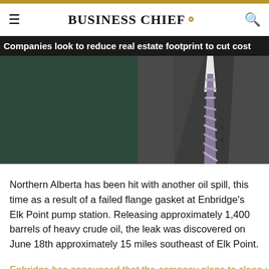BUSINESS CHIEF.
Companies look to reduce real estate footprint to cut cost
[Figure (photo): A man in a dark grey business suit with a striped tie, shown from chest down, against a dark green background.]
Northern Alberta has been hit with another oil spill, this time as a result of a failed flange gasket at Enbridge's Elk Point pump station. Releasing approximately 1,400 barrels of heavy crude oil, the leak was discovered on June 18th approximately 15 miles southeast of Elk Point.
Enbridge has announced that the company plans to clean up...